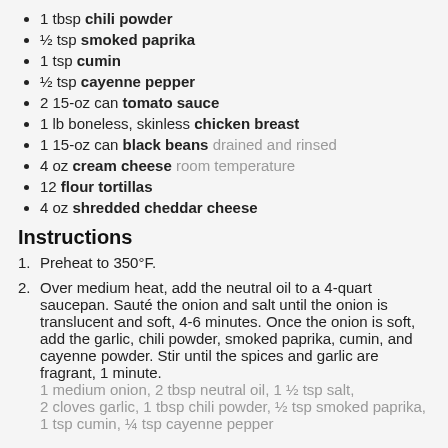1 tbsp chili powder
½ tsp smoked paprika
1 tsp cumin
½ tsp cayenne pepper
2 15-oz can tomato sauce
1 lb boneless, skinless chicken breast
1 15-oz can black beans drained and rinsed
4 oz cream cheese room temperature
12 flour tortillas
4 oz shredded cheddar cheese
Instructions
Preheat to 350°F.
Over medium heat, add the neutral oil to a 4-quart saucepan. Sauté the onion and salt until the onion is translucent and soft, 4-6 minutes. Once the onion is soft, add the garlic, chili powder, smoked paprika, cumin, and cayenne powder. Stir until the spices and garlic are fragrant, 1 minute. 1 medium onion, 2 tbsp neutral oil, 1 ½ tsp salt, 2 cloves garlic, 1 tbsp chili powder, ½ tsp smoked paprika, 1 tsp cumin, ¼ tsp cayenne pepper